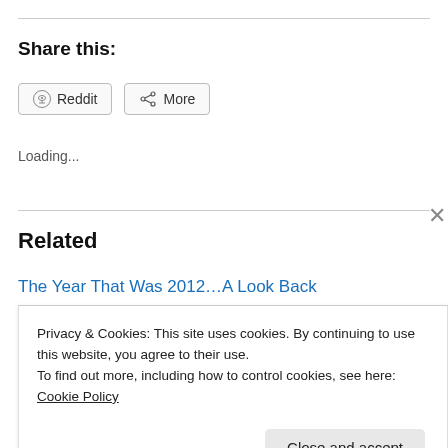Share this:
Reddit
More
Loading...
Related
The Year That Was 2012…A Look Back
Privacy & Cookies: This site uses cookies. By continuing to use this website, you agree to their use.
To find out more, including how to control cookies, see here: Cookie Policy
Close and accept